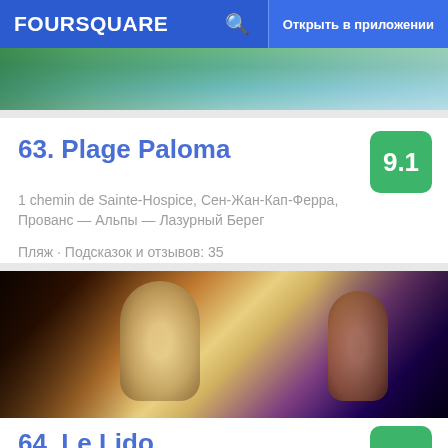FOURSQUARE  🔍  Открыть в приложении
[Figure (photo): Partial beach/sea photo strip at top]
63. Plage Paloma
1 chemin de Sainte-Hospice, Сен-Жан-Кап-Ферра, Прованс — Альпы — Лазурный Берег
Пляж · Подсказок и отзывов: 35
[Figure (photo): Cabaret/show performers on stage with elaborate costumes and lighting]
64. Le Lido
116 bis avenue des Champs-Élysées, Париж,